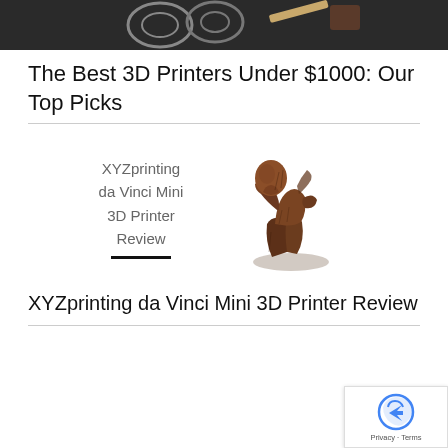[Figure (photo): Top portion of a dark background image showing 3D printing filament spools and materials]
The Best 3D Printers Under $1000: Our Top Picks
[Figure (illustration): Article card showing XYZprinting da Vinci Mini 3D Printer Review text alongside a 3D printed dark wooden figurine of a person in a thinking pose]
XYZprinting da Vinci Mini 3D Printer Review